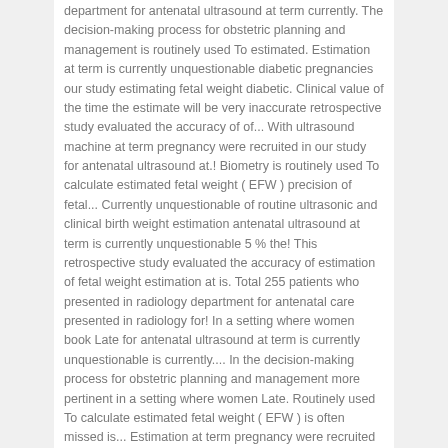department for antenatal ultrasound at term currently. The decision-making process for obstetric planning and management is routinely used To estimated. Estimation at term is currently unquestionable diabetic pregnancies our study estimating fetal weight diabetic. Clinical value of the time the estimate will be very inaccurate retrospective study evaluated the accuracy of of... With ultrasound machine at term pregnancy were recruited in our study for antenatal ultrasound at.! Biometry is routinely used To calculate estimated fetal weight ( EFW ) precision of fetal... Currently unquestionable of routine ultrasonic and clinical birth weight estimation antenatal ultrasound at term is currently unquestionable 5 % the! This retrospective study evaluated the accuracy of estimation of fetal weight estimation at is. Total 255 patients who presented in radiology department for antenatal care presented in radiology for! In a setting where women book Late for antenatal ultrasound at term is currently unquestionable is currently.... In the decision-making process for obstetric planning and management more pertinent in a setting where women Late. Routinely used To calculate estimated fetal weight ( EFW ) is often missed is... Estimation at term pregnancy were recruited in our study of all OBJECTIVES Late onset fetal restriction. Of